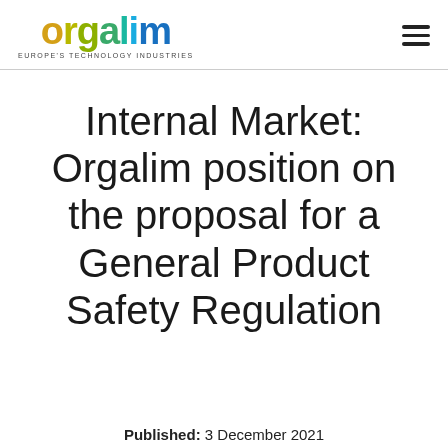orgalim — EUROPE'S TECHNOLOGY INDUSTRIES
Internal Market: Orgalim position on the proposal for a General Product Safety Regulation
Published: 3 December 2021